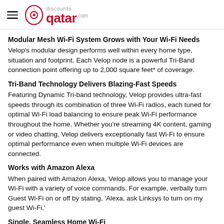discounts qatar
Modular Mesh Wi-Fi System Grows with Your Wi-Fi Needs
Velop's modular design performs well within every home type, situation and footprint. Each Velop node is a powerful Tri-Band connection point offering up to 2,000 square feet* of coverage.
Tri-Band Technology Delivers Blazing-Fast Speeds
Featuring Dynamic Tri-band technology, Velop provides ultra-fast speeds through its combination of three Wi-Fi radios, each tuned for optimal Wi-Fi load balancing to ensure peak Wi-Fi performance throughout the home. Whether you're streaming 4K content, gaming or video chatting, Velop delivers exceptionally fast Wi-Fi to ensure optimal performance even when multiple Wi-Fi devices are connected.
Works with Amazon Alexa
When paired with Amazon Alexa, Velop allows you to manage your Wi-Fi with a variety of voice commands. For example, verbally turn Guest Wi-Fi on or off by stating, 'Alexa, ask Linksys to turn on my guest Wi-Fi.'
Single, Seamless Home Wi-Fi
The Velop mesh system operates as a singular network that